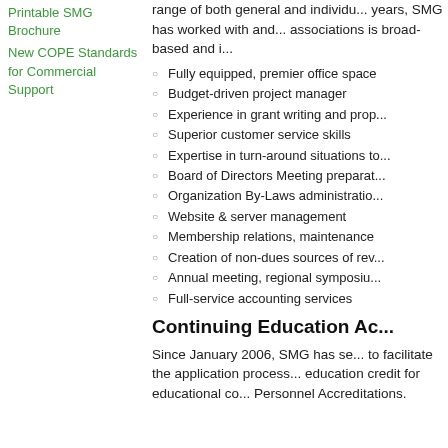Printable SMG Brochure
New COPE Standards for Commercial Support
range of both general and individ... years, SMG has worked with and... associations is broad-based and i...
Fully equipped, premier office space
Budget-driven project manager
Experience in grant writing and prop...
Superior customer service skills
Expertise in turn-around situations to...
Board of Directors Meeting preparat...
Organization By-Laws administratio...
Website & server management
Membership relations, maintenance
Creation of non-dues sources of rev...
Annual meeting, regional symposiu...
Full-service accounting services
Continuing Education Ac...
Since January 2006, SMG has se... to facilitate the application process... education credit for educational co... Personnel Accreditations.